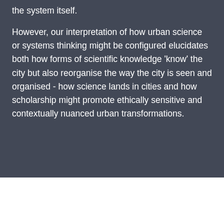the system itself.
However, our interpretation of how urban science or systems thinking might be configured elucidates both how forms of scientific knowledge 'know' the city but also reorganise the way the city is seen and organised - how science lands in cities and how scholarship might promote ethically sensitive and contextually nuanced urban transformations.